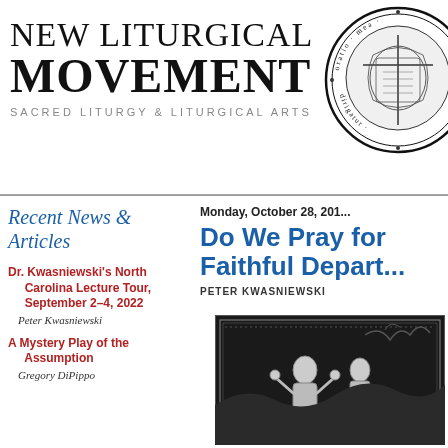NEW LITURGICAL MOVEMENT
SACRED LITURGY & LITURGICAL ARTS
[Figure (logo): Circular ecclesiastical seal with intricate religious iconography and Latin text around the border]
Recent News & Articles
Dr. Kwasniewski's North Carolina Lecture Tour, September 2–4, 2022 — Peter Kwasniewski
A Mystery Play of the Assumption — Gregory DiPippo
Monday, October 28, 201...
Do We Pray for the Faithful Depart...
PETER KWASNIEWSKI
[Figure (illustration): Medieval or religious illustration showing figures, partially visible at bottom right]